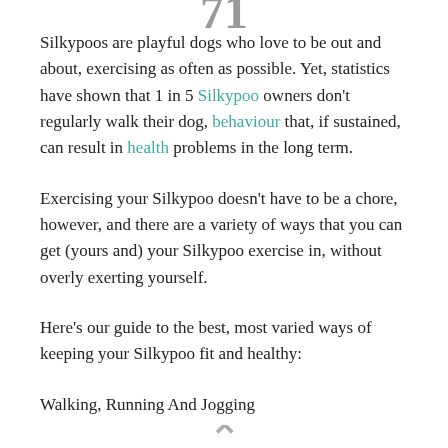[Figure (illustration): Partial decorative graphic at the top of the page, showing stylized numbers or logo in gray/dark color, partially cropped]
Silkypoos are playful dogs who love to be out and about, exercising as often as possible. Yet, statistics have shown that 1 in 5 Silkypoo owners don't regularly walk their dog, behaviour that, if sustained, can result in health problems in the long term.
Exercising your Silkypoo doesn't have to be a chore, however, and there are a variety of ways that you can get (yours and) your Silkypoo exercise in, without overly exerting yourself.
Here's our guide to the best, most varied ways of keeping your Silkypoo fit and healthy:
Walking, Running And Jogging
[Figure (illustration): Partial decorative graphic at the bottom of the page, partially cropped]